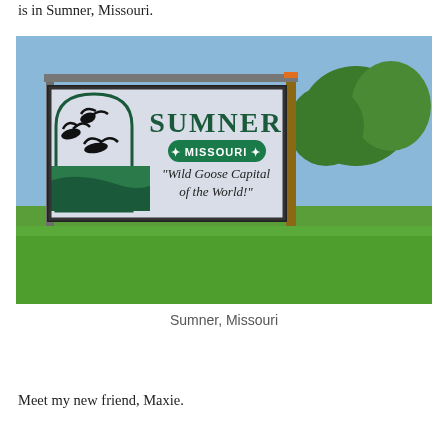is in Sumner, Missouri.
[Figure (photo): Outdoor sign for Sumner, Missouri reading 'SUMNER MISSOURI Wild Goose Capital of the World!' with flying geese imagery on the left panel, mounted on wooden posts in a grassy field with trees in the background.]
Sumner, Missouri
Meet my new friend, Maxie.